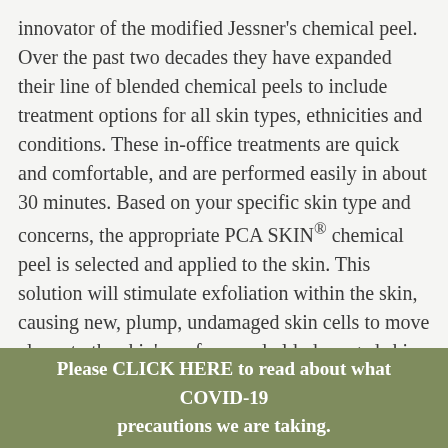innovator of the modified Jessner's chemical peel. Over the past two decades they have expanded their line of blended chemical peels to include treatment options for all skin types, ethnicities and conditions. These in-office treatments are quick and comfortable, and are performed easily in about 30 minutes. Based on your specific skin type and concerns, the appropriate PCA SKIN® chemical peel is selected and applied to the skin. This solution will stimulate exfoliation within the skin, causing new, plump, undamaged skin cells to move closer to the skin's surface, and old, damaged skin cells to peel away. While there may be a few days of visibly peeling skin, similar to the peeling seen with a sunburn, there is no downtime associated with these treatments. Results are noticeable after just one treatment, while dramatic results are seen after a series of six treatments.
Please CLICK HERE to read about what COVID-19 precautions we are taking.